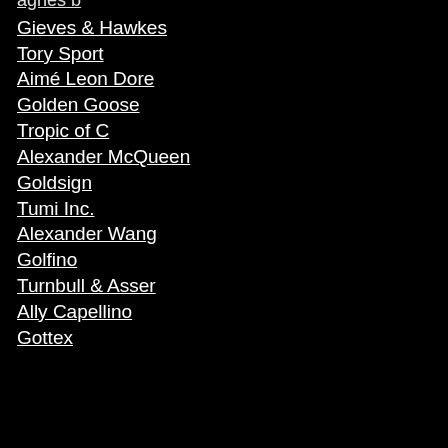agnes b
Gieves & Hawkes
Tory Sport
Aimé Leon Dore
Golden Goose
Tropic of C
Alexander McQueen
Goldsign
Tumi Inc.
Alexander Wang
Golfino
Turnbull & Asser
Ally Capellino
Gottex